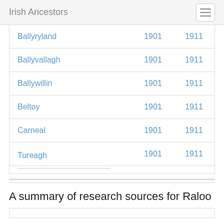Irish Ancestors
| Place | 1901 | 1911 |
| --- | --- | --- |
| Ballyryland | 1901 | 1911 |
| Ballyvallagh | 1901 | 1911 |
| Ballywillin | 1901 | 1911 |
| Beltoy | 1901 | 1911 |
| Carneal | 1901 | 1911 |
| Tureagh | 1901 | 1911 |
A summary of research sources for Raloo